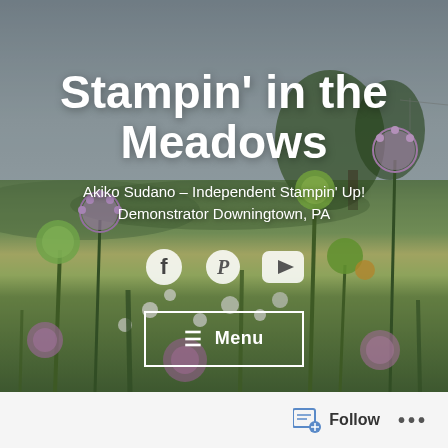[Figure (photo): Hero image of a wildflower meadow with purple and white flowers, green stems, and an overcast sky with trees in the background. Site banner image for a crafting blog.]
Stampin' in the Meadows
Akiko Sudano – Independent Stampin' Up! Demonstrator Downingtown, PA
[Figure (infographic): Social media icons: Facebook circle icon, Pinterest logo, YouTube play button icon, all in white]
☰ Menu
Follow  ...